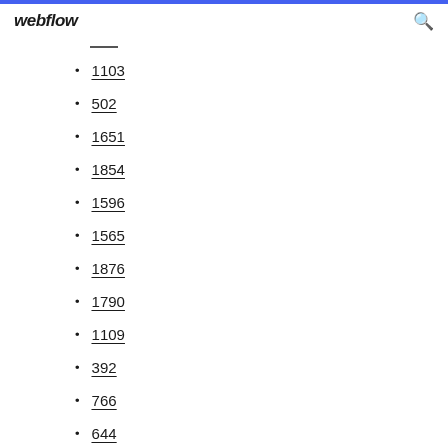webflow
1103
502
1651
1854
1596
1565
1876
1790
1109
392
766
644